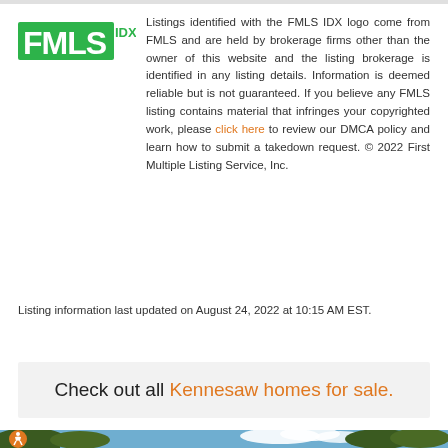[Figure (logo): FMLS IDX logo in green with bold FMLS lettering and IDX superscript]
Listings identified with the FMLS IDX logo come from FMLS and are held by brokerage firms other than the owner of this website and the listing brokerage is identified in any listing details. Information is deemed reliable but is not guaranteed. If you believe any FMLS listing contains material that infringes your copyrighted work, please click here to review our DMCA policy and learn how to submit a takedown request. © 2022 First Multiple Listing Service, Inc.
Listing information last updated on August 24, 2022 at 10:15 AM EST.
Check out all Kennesaw homes for sale.
[Figure (photo): Exterior photo of a home with trees and blue sky, with an orange accessibility icon in the lower left corner]